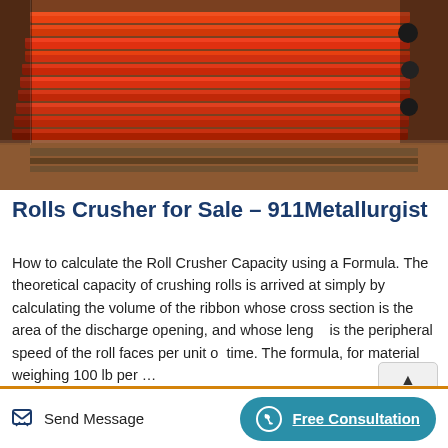[Figure (photo): Stack of orange painted steel roll crusher parts/beams piled in a warehouse or factory floor]
Rolls Crusher for Sale – 911Metallurgist
How to calculate the Roll Crusher Capacity using a Formula. The theoretical capacity of crushing rolls is arrived at simply by calculating the volume of the ribbon whose cross section is the area of the discharge opening, and whose length is the peripheral speed of the roll faces per unit of time. The formula, for material weighing 100 lb per ...
Send Message | Free Consultation